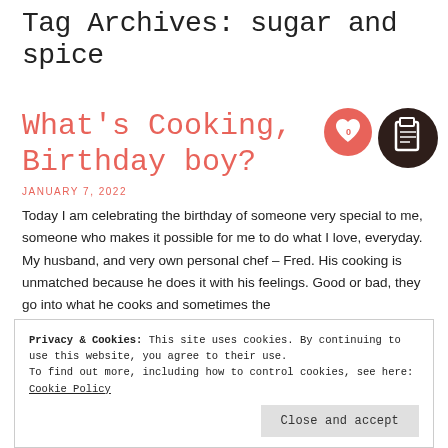Tag Archives: sugar and spice
What's Cooking, Birthday boy?
JANUARY 7, 2022
Today I am celebrating the birthday of someone very special to me, someone who makes it possible for me to do what I love, everyday. My husband, and very own personal chef – Fred. His cooking is unmatched because he does it with his feelings. Good or bad, they go into what he cooks and sometimes the
Privacy & Cookies: This site uses cookies. By continuing to use this website, you agree to their use.
To find out more, including how to control cookies, see here: Cookie Policy
Close and accept